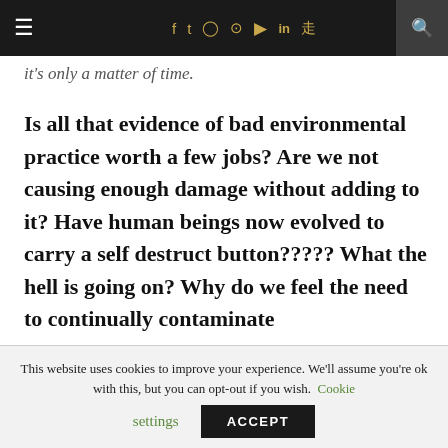≡  f  t  ◎  ⊕  ▶  in  ))) 🔍
it's only a matter of time.
Is all that evidence of bad environmental practice worth a few jobs? Are we not causing enough damage without adding to it? Have human beings now evolved to carry a self destruct button????? What the hell is going on? Why do we feel the need to continually contaminate
This website uses cookies to improve your experience. We'll assume you're ok with this, but you can opt-out if you wish. Cookie settings  ACCEPT